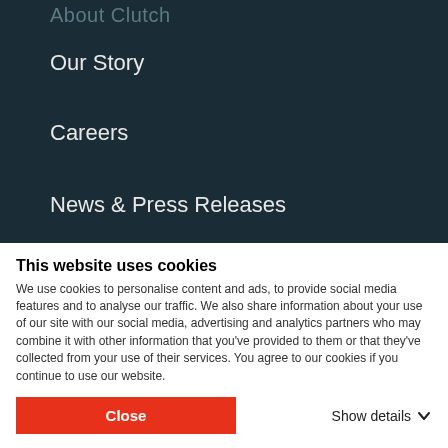About Clutch
Our Story
Careers
News & Press Releases
Research Methodology
Purpos
This website uses cookies
We use cookies to personalise content and ads, to provide social media features and to analyse our traffic. We also share information about your use of our site with our social media, advertising and analytics partners who may combine it with other information that you've provided to them or that they've collected from your use of their services. You agree to our cookies if you continue to use our website.
Close
Show details